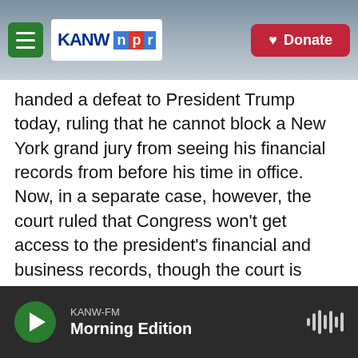KANW NPR — Donate
handed a defeat to President Trump today, ruling that he cannot block a New York grand jury from seeing his financial records from before his time in office. Now, in a separate case, however, the court ruled that Congress won't get access to the president's financial and business records, though the court is sending that case back to a lower court. To understand moments like this, we often turn to constitutional lawyer and professor at the University of Baltimore, a frequent guest on this program, Kim Wehle. Thanks for being here as always.
KANW-FM Morning Edition